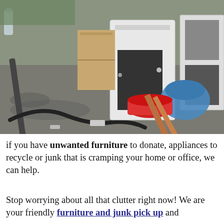[Figure (photo): Outdoor pile of unwanted junk including a white cabinet/appliance, cardboard boxes, a red bucket/paint can, a blue bag, wooden boards, a metal rod, a black hose, and other miscellaneous items on a concrete/gravel surface.]
if you have unwanted furniture to donate, appliances to recycle or junk that is cramping your home or office, we can help.
Stop worrying about all that clutter right now! We are your friendly furniture and junk pick up and